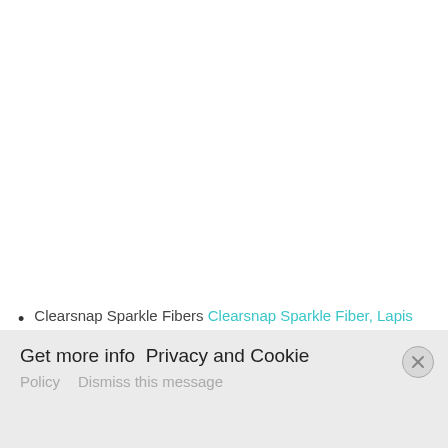Clearsnap Sparkle Fibers Clearsnap Sparkle Fiber, Lapis
Get more info  Privacy and Cookie Policy    Dismiss this message